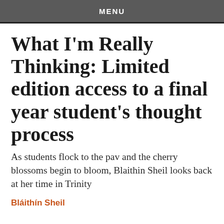MENU
What I'm Really Thinking: Limited edition access to a final year student's thought process
As students flock to the pav and the cherry blossoms begin to bloom, Blaithin Sheil looks back at her time in Trinity
Bláithín Sheil